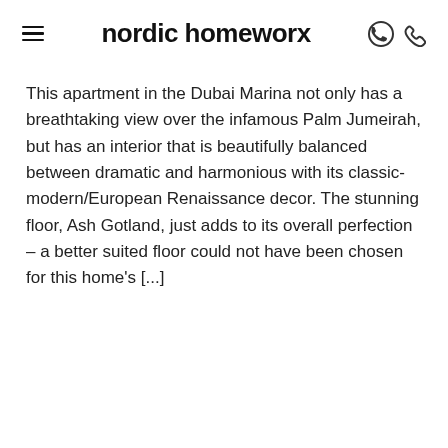nordic homeworx
This apartment in the Dubai Marina not only has a breathtaking view over the infamous Palm Jumeirah, but has an interior that is beautifully balanced between dramatic and harmonious with its classic-modern/European Renaissance decor. The stunning floor, Ash Gotland, just adds to its overall perfection – a better suited floor could not have been chosen for this home's [...]